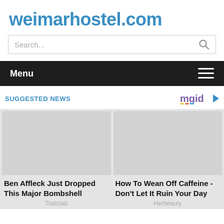weimarhostel.com
Search...
Menu
SUGGESTED NEWS
[Figure (logo): mgid logo with play button icon]
[Figure (photo): Thumbnail image placeholder for Ben Affleck article]
Ben Affleck Just Dropped This Major Bombshell
Traitslab
[Figure (photo): Thumbnail image placeholder for caffeine article]
How To Wean Off Caffeine - Don't Let It Ruin Your Day
Herbeauty